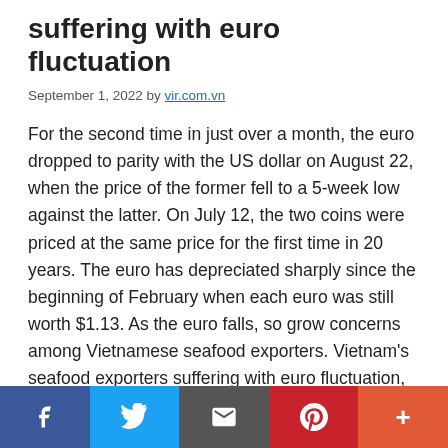suffering with euro fluctuation
September 1, 2022 by vir.com.vn
For the second time in just over a month, the euro dropped to parity with the US dollar on August 22, when the price of the former fell to a 5-week low against the latter. On July 12, the two coins were priced at the same price for the first time in 20 years. The euro has depreciated sharply since the beginning of February when each euro was still worth $1.13. As the euro falls, so grow concerns among Vietnamese seafood exporters. Vietnam's seafood exporters suffering with euro fluctuation, illustration photo Vo Van Phuc, general director of